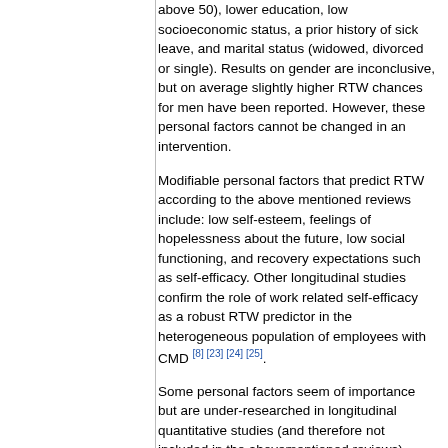above 50), lower education, low socioeconomic status, a prior history of sick leave, and marital status (widowed, divorced or single). Results on gender are inconclusive, but on average slightly higher RTW chances for men have been reported. However, these personal factors cannot be changed in an intervention.
Modifiable personal factors that predict RTW according to the above mentioned reviews include: low self-esteem, feelings of hopelessness about the future, low social functioning, and recovery expectations such as self-efficacy. Other longitudinal studies confirm the role of work related self-efficacy as a robust RTW predictor in the heterogeneous population of employees with CMD [8] [23] [24] [25].
Some personal factors seem of importance but are under-researched in longitudinal quantitative studies (and therefore not included in the abovementioned reviews). Several qualitative studies show the